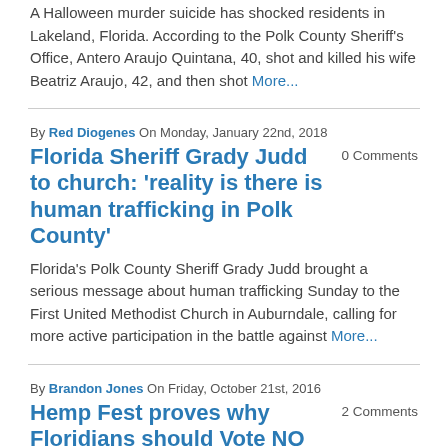A Halloween murder suicide has shocked residents in Lakeland, Florida. According to the Polk County Sheriff's Office, Antero Araujo Quintana, 40, shot and killed his wife Beatriz Araujo, 42, and then shot More...
By Red Diogenes On Monday, January 22nd, 2018
Florida Sheriff Grady Judd to church: 'reality is there is human trafficking in Polk County'
0 Comments
Florida's Polk County Sheriff Grady Judd brought a serious message about human trafficking Sunday to the First United Methodist Church in Auburndale, calling for more active participation in the battle against More...
By Brandon Jones On Friday, October 21st, 2016
Hemp Fest proves why Floridians should Vote NO on Amendment Two
2 Comments